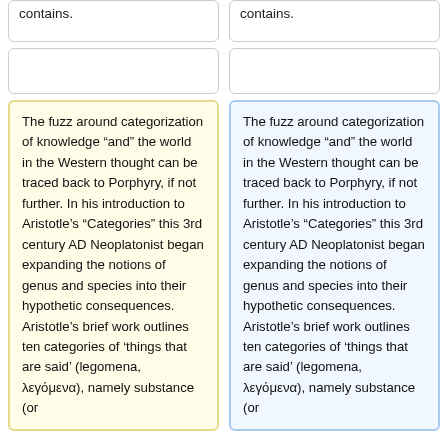contains.
contains.
The fuzz around categorization of knowledge “and” the world in the Western thought can be traced back to Porphyry, if not further. In his introduction to Aristotle’s “Categories” this 3rd century AD Neoplatonist began expanding the notions of genus and species into their hypothetic consequences. Aristotle’s brief work outlines ten categories of ‘things that are said’ (legomena, λεγόμενα), namely substance (or
The fuzz around categorization of knowledge “and” the world in the Western thought can be traced back to Porphyry, if not further. In his introduction to Aristotle’s “Categories” this 3rd century AD Neoplatonist began expanding the notions of genus and species into their hypothetic consequences. Aristotle’s brief work outlines ten categories of ‘things that are said’ (legomena, λεγόμενα), namely substance (or